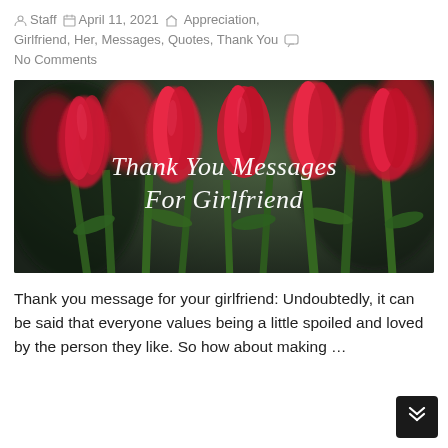Staff  April 11, 2021  Appreciation, Girlfriend, Her, Messages, Quotes, Thank You  No Comments
[Figure (photo): Photo of red tulips on a dark background with white cursive text reading 'Thank You Messages For Girlfriend']
Thank you message for your girlfriend: Undoubtedly, it can be said that everyone values being a little spoiled and loved by the person they like. So how about making …